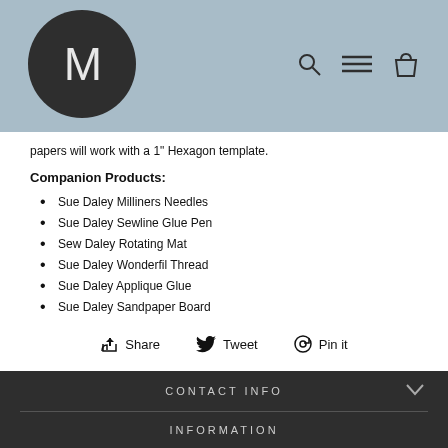[Figure (logo): Dark circular logo with white letter M on blue-grey header background]
papers will work with a 1" Hexagon template.
Companion Products:
Sue Daley Milliners Needles
Sue Daley Sewline Glue Pen
Sew Daley Rotating Mat
Sue Daley Wonderfil Thread
Sue Daley Applique Glue
Sue Daley Sandpaper Board
Share   Tweet   Pin it
CONTACT INFO
INFORMATION